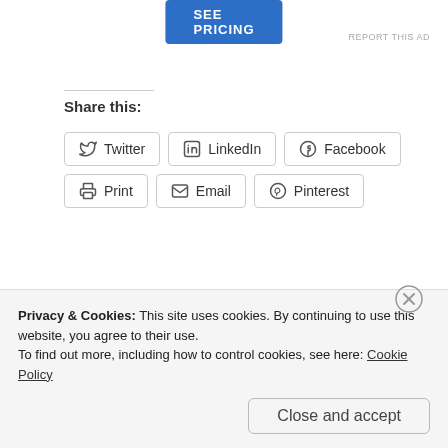[Figure (other): Blue 'SEE PRICING' advertisement button at top center]
REPORT THIS AD
Share this:
Twitter
LinkedIn
Facebook
Print
Email
Pinterest
Like this:
2 bloggers like this.
Privacy & Cookies: This site uses cookies. By continuing to use this website, you agree to their use.
To find out more, including how to control cookies, see here: Cookie Policy